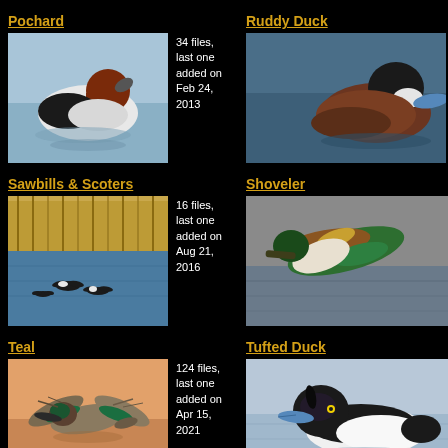Pochard
34 files, last one added on Feb 24, 2013
[Figure (photo): Pochard duck swimming on water, head raised]
Ruddy Duck
[Figure (photo): Ruddy Duck on water, partially cropped on right side]
Sawbills & Scoters
16 files, last one added on Aug 21, 2016
[Figure (photo): Sawbills & Scoters ducks flying over water near reeds]
Shoveler
[Figure (photo): Shoveler duck in flight over water, partially cropped]
Teal
124 files, last one added on Apr 15, 2021
[Figure (photo): Teal duck in flight against warm sky]
Tufted Duck
[Figure (photo): Tufted Duck on water, partially cropped]